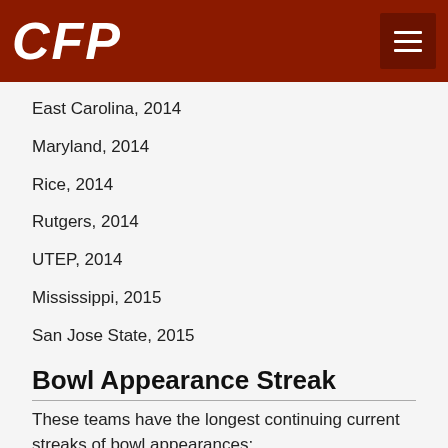CFP
East Carolina, 2014
Maryland, 2014
Rice, 2014
Rutgers, 2014
UTEP, 2014
Mississippi, 2015
San Jose State, 2015
Bowl Appearance Streak
These teams have the longest continuing current streaks of bowl appearances:
Virginia Tech, 27
Georgia, 23
Oklahoma, 21
Bowl Winning Streak